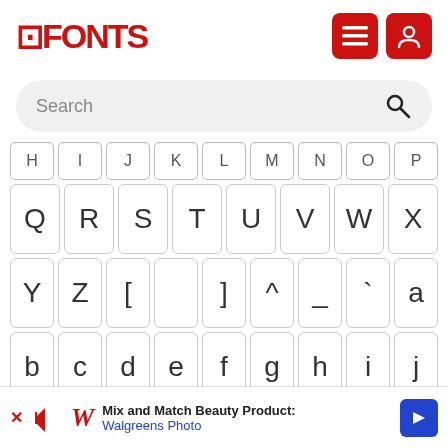FFONTS — header with logo, menu and user buttons
Search
[Figure (screenshot): Character browsing grid showing uppercase letters Q R S T U V W X, then Y Z [ ] ^ _ ` a, then b c d e f g h i j, then k l m n o p q r s, with partial rows at top (H I J K L M N O P) and bottom. A close X button appears at bottom right. An advertisement banner for Walgreens Photo appears at bottom.]